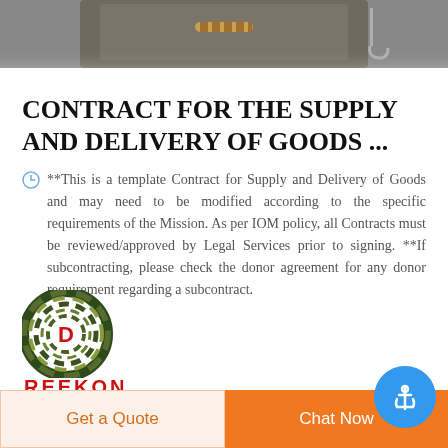[Figure (photo): Partial top image of military/cargo equipment against a grey background, cropped at top of page]
CONTRACT FOR THE SUPPLY AND DELIVERY OF GOODS ...
**This is a template Contract for Supply and Delivery of Goods and may need to be modified according to the specific requirements of the Mission. As per IOM policy, all Contracts must be reviewed/approved by Legal Services prior to signing. **If subcontracting, please check the donor agreement for any donor requirement regarding a subcontract.
[Figure (logo): Circular camouflage-patterned logo with red letter D in center, and red company name text below reading REEKON]
Get a Quote
Chat Now